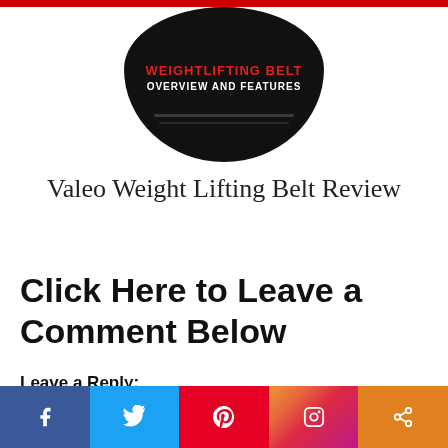[Figure (photo): Circular black weightlifting belt with red text 'WEIGHTLIFTING BELT' and white text 'OVERVIEW AND FEATURES' on a dark background]
Valeo Weight Lifting Belt Review
Click Here to Leave a Comment Below
Leave a Reply:
Share your thoughts...
[Figure (infographic): Social media share bar with Facebook, Twitter, Pinterest, Instagram, and share icons at the bottom of the page]